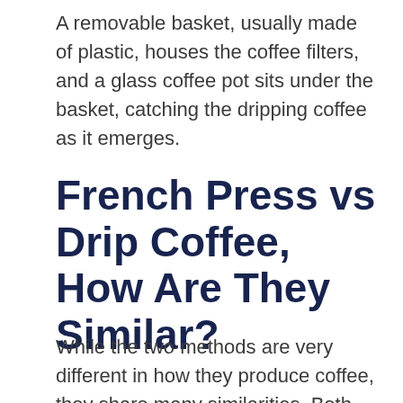A removable basket, usually made of plastic, houses the coffee filters, and a glass coffee pot sits under the basket, catching the dripping coffee as it emerges.
French Press vs Drip Coffee, How Are They Similar?
While the two methods are very different in how they produce coffee, they share many similarities. Both methods produce a flavorful coffee and